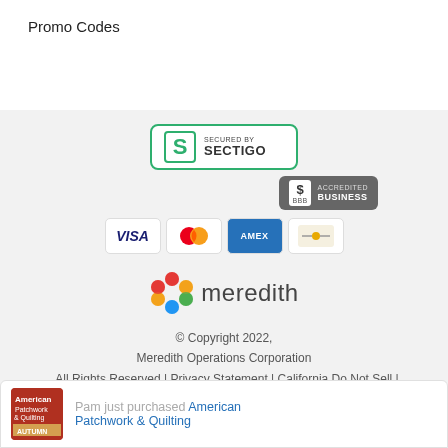Promo Codes
[Figure (logo): Sectigo Secured By badge with green border, S logo, and SECURED BY SECTIGO text]
[Figure (logo): BBB Accredited Business badge on dark grey background]
[Figure (infographic): Payment method icons: VISA, Mastercard, AMEX, Discover]
[Figure (logo): Meredith logo with colorful geometric lattice icon and meredith wordmark]
© Copyright 2022,
Meredith Operations Corporation
. All Rights Reserved | Privacy Statement | California Do Not Sell |
Terms of Service Agreement
Pam just purchased American Patchwork & Quilting